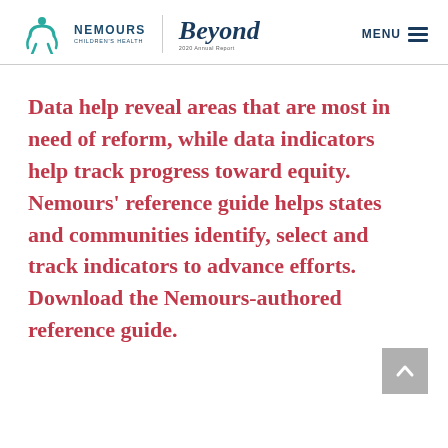Nemours Children's Health | Beyond 2020 Annual Report | MENU
Data help reveal areas that are most in need of reform, while data indicators help track progress toward equity. Nemours' reference guide helps states and communities identify, select and track indicators to advance efforts. Download the Nemours-authored reference guide.